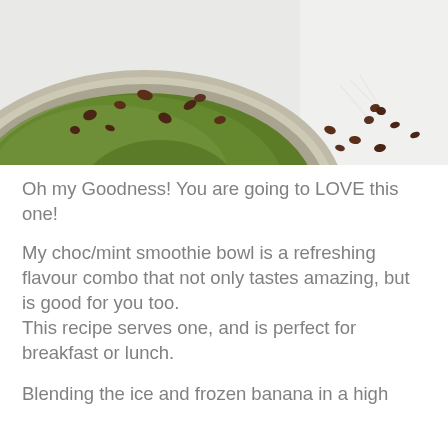[Figure (photo): Close-up photo of a green smoothie bowl in a speckled ceramic bowl, topped with cacao nibs. Some cacao nibs are scattered on the white surface beside the bowl.]
Oh my Goodness! You are going to LOVE this one!
My choc/mint smoothie bowl is a refreshing flavour combo that not only tastes amazing, but is good for you too.
This recipe serves one, and is perfect for breakfast or lunch.
Blending the ice and frozen banana in a high